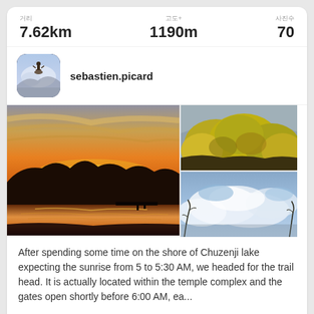거리 7.62km
고도+ 1190m
사진수 70
sebastien.picard
[Figure (photo): Sunset lake with mountain silhouettes reflected on calm water, dramatic orange sky]
[Figure (photo): Yellow-green foliage on hillside]
[Figure (photo): Misty clouds with tree branches in foreground, blue sky]
After spending some time on the shore of Chuzenji lake expecting the sunrise from 5 to 5:30 AM, we headed for the trail head. It is actually located within the temple complex and the gates open shortly before 6:00 AM, ea...
더보기 →